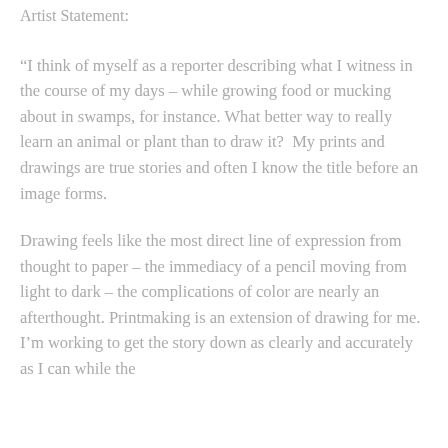Artist Statement:
“I think of myself as a reporter describing what I witness in the course of my days – while growing food or mucking about in swamps, for instance. What better way to really learn an animal or plant than to draw it?  My prints and drawings are true stories and often I know the title before an image forms.
Drawing feels like the most direct line of expression from thought to paper – the immediacy of a pencil moving from light to dark – the complications of color are nearly an afterthought. Printmaking is an extension of drawing for me. I’m working to get the story down as clearly and accurately as I can while the